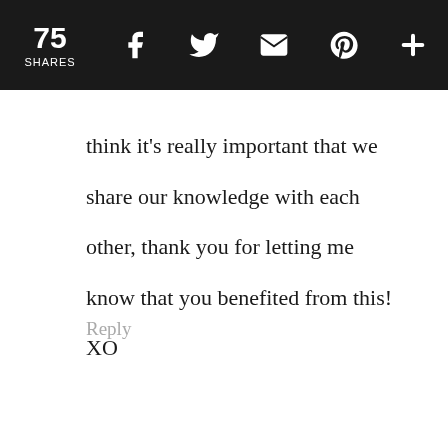75 SHARES | Facebook | Twitter | Email | Pinterest | +
think it's really important that we share our knowledge with each other, thank you for letting me know that you benefited from this! XO
Reply